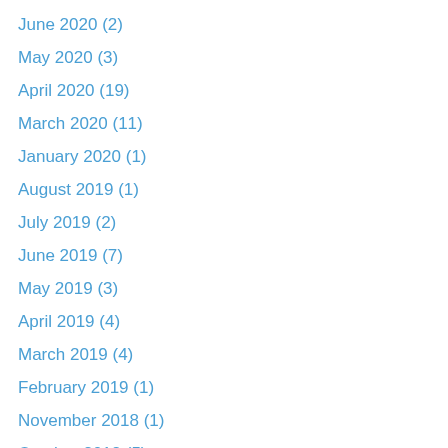June 2020 (2)
May 2020 (3)
April 2020 (19)
March 2020 (11)
January 2020 (1)
August 2019 (1)
July 2019 (2)
June 2019 (7)
May 2019 (3)
April 2019 (4)
March 2019 (4)
February 2019 (1)
November 2018 (1)
October 2018 (5)
September 2018 (2)
August 2018 (4)
July 2018 (30)
June 2018 (6)
May 2018 (2)
April 2018 (2)